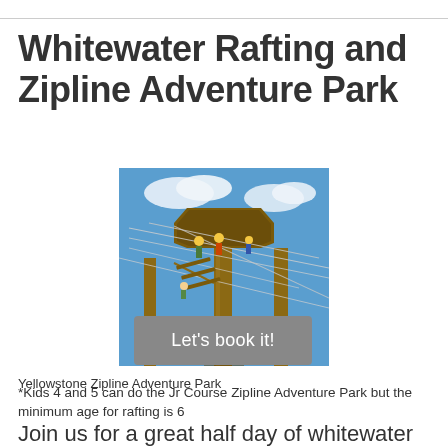Whitewater Rafting and Zipline Adventure Park
[Figure (photo): Aerial ropes course or zipline adventure park structure with wooden poles and cables, people visible on the course, blue sky background — Yellowstone Zipline Adventure Park]
Yellowstone Zipline Adventure Park
Let's book it!
*Kids 4 and 5 can do the Jr Course Zipline Adventure Park but the minimum age for rafting is 6
Join us for a great half day of whitewater rafting, then visit Montana's largest and newest Zipline